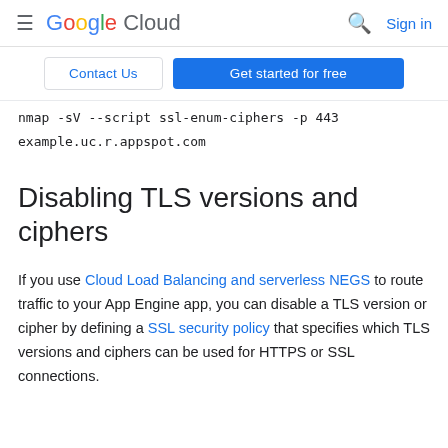≡ Google Cloud  🔍 Sign in
Contact Us | Get started for free
nmap -sV --script ssl-enum-ciphers -p 443 example.uc.r.appspot.com
Disabling TLS versions and ciphers
If you use Cloud Load Balancing and serverless NEGS to route traffic to your App Engine app, you can disable a TLS version or cipher by defining a SSL security policy that specifies which TLS versions and ciphers can be used for HTTPS or SSL connections.